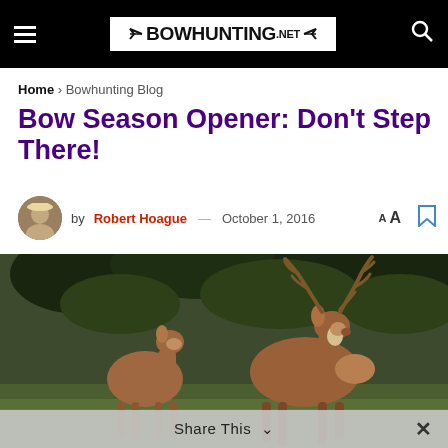BOWHUNTING.NET
Home > Bowhunting Blog
Bow Season Opener: Don't Step There!
by Robert Hoague — October 1, 2016
[Figure (photo): Two white-tailed deer, including a large buck with prominent antlers, facing each other in a grassy area with trees in the background.]
Share This